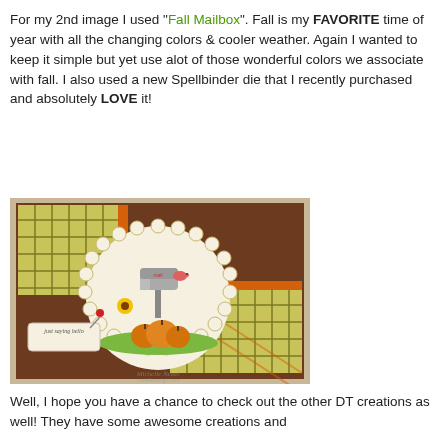For my 2nd image I used "Fall Mailbox". Fall is my FAVORITE time of year with all the changing colors & cooler weather. Again I wanted to keep it simple but yet use alot of those wonderful colors we associate with fall. I also used a new Spellbinder die that I recently purchased and absolutely LOVE it!
[Figure (photo): A handmade fall-themed greeting card featuring a scalloped circular die-cut with an illustrated mailbox, pumpkins, bird, and sunflower on a green grass base. The card background is brown with plaid patterned paper panels in yellow-green and orange. A tag saying 'just saying hello' is attached on the left. Watermark reads 'Michelle Nebel' at the bottom.]
Well, I hope you have a chance to check out the other DT creations as well! They have some awesome creations and